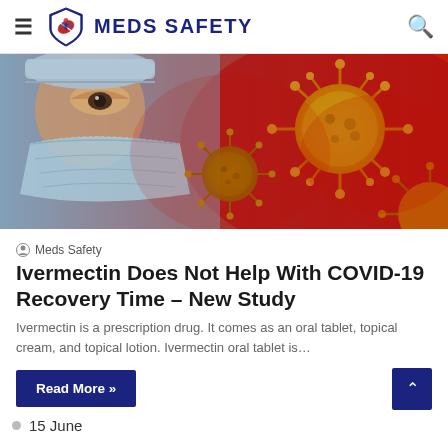MEDS SAFETY
[Figure (photo): Medical professional wearing a blue surgical mask and cap, with red-toned 3D renderings of coronavirus particles overlaid on the right side of the image.]
Meds Safety
Ivermectin Does Not Help With COVID-19 Recovery Time – New Study
Ivermectin is a prescription drug. It comes as an oral tablet, topical cream, and topical lotion. Ivermectin oral tablet is…
Read More »
15 June